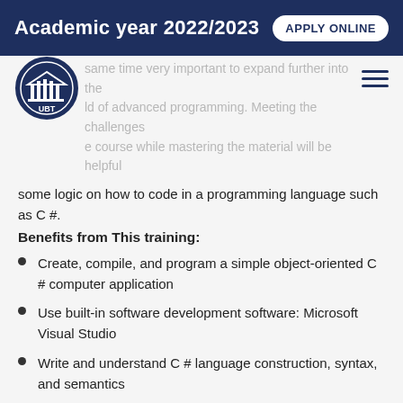Academic year 2022/2023   APPLY ONLINE
same time very important to expand further into the ld of advanced programming. Meeting the challenges e course while mastering the material will be helpful to you and in doing so it is expected that you will create some logic on how to code in a programming language such as C #.
Benefits from This training:
Create, compile, and program a simple object-oriented C # computer application
Use built-in software development software: Microsoft Visual Studio
Write and understand C # language construction, syntax, and semantics
Develop .NET components through the implementation of standard interface and design templates